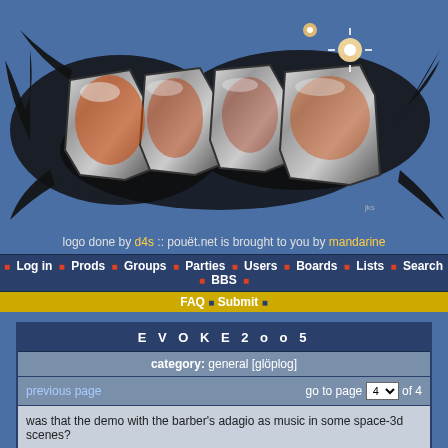[Figure (illustration): Graffiti-style logo for pouet.net rendered over a blue background with dark ink splatter effects and orange/red flame-like highlights on metallic chrome 3D letters]
logo done by d4s :: pouët.net is brought to you by mandarine
• Log in • Prods • Groups • Parties • Users • Boards • Lists • Search • BBS • FAQ • Submit •
| E V O K E 2 o o 5 |
| category: general [glöplog] |
| previous page | go to page 4 of 4 |
| was that the demo with the barber's adagio as music in some space-3d scenes? |
| added on the 2005-08-29 13:46:27 by Gargaj |
| Quote: |